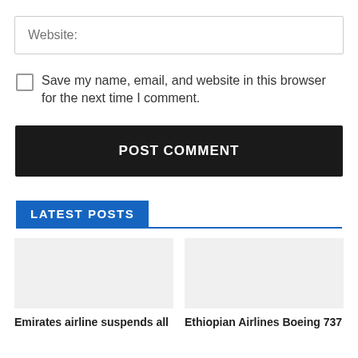Website:
Save my name, email, and website in this browser for the next time I comment.
POST COMMENT
LATEST POSTS
Emirates airline suspends all
Ethiopian Airlines Boeing 737